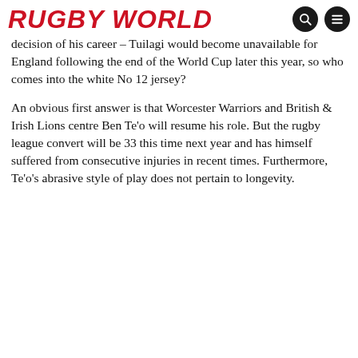RUGBY WORLD
decision of his career – Tuilagi would become unavailable for England following the end of the World Cup later this year, so who comes into the white No 12 jersey?
An obvious first answer is that Worcester Warriors and British & Irish Lions centre Ben Te'o will resume his role. But the rugby league convert will be 33 this time next year and has himself suffered from consecutive injuries in recent times. Furthermore, Te'o's abrasive style of play does not pertain to longevity.